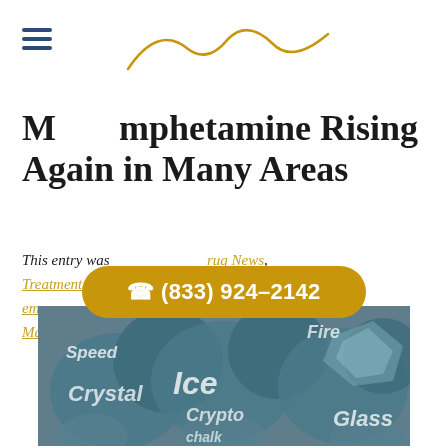Methamphetamine Rising Again in Many Areas
This entry was posted in Drug News, Treatment Admissions, Drug Addiction, emergency room, methamphetamine, treatment on May 9, 2015 by Blake Nichols.
[Figure (illustration): Illustration showing dark teal/grey bubble shapes overlaid with street names for methamphetamine: Speed, Ice, Fire, Crystal, Crypto, Glass, Chalk]